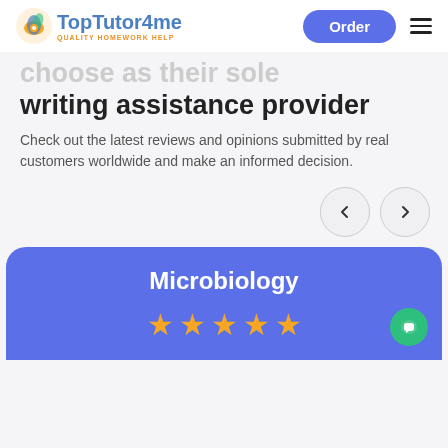[Figure (logo): TopTutor4me logo with peacock/leaf icon and text 'QUALITY HOMEWORK HELP']
writing assistance provider
Check out the latest reviews and opinions submitted by real customers worldwide and make an informed decision.
[Figure (other): Left and right navigation arrow buttons (circle buttons)]
Microbiology
[Figure (other): Five gold star rating icons]